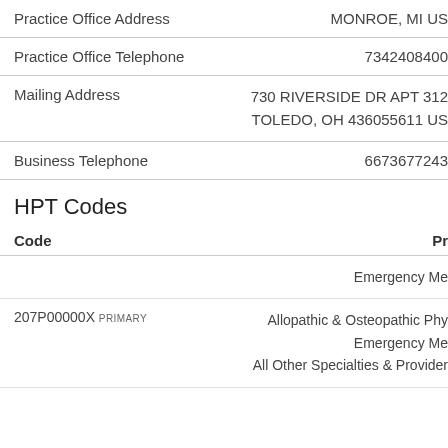| Field | Value |
| --- | --- |
| Practice Office Address | MONROE, MI US |
| Practice Office Telephone | 7342408400 |
| Mailing Address | 730 RIVERSIDE DR APT 312
TOLEDO, OH 436055611 US |
| Business Telephone | 6673677243 |
HPT Codes
| Code | Pr |
| --- | --- |
|  | Emergency Me |
| 207P00000X PRIMARY | Allopathic & Osteopathic Phy
Emergency Me
All Other Specialties & Provider |